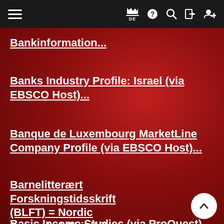Navigation bar with hamburger menu, flag/DE, help, search, login, register icons
Bankinformation...
Banks Industry Profile: Israel (via EBSCO Host)...
Banque de Luxembourg MarketLine Company Profile (via EBSCO Host)...
Barnelitterært Forskningstidsskrift (BLFT) = Nordic Journal of ChildLit Aesthetics...
Basic Income Studies (via ProQuest)...